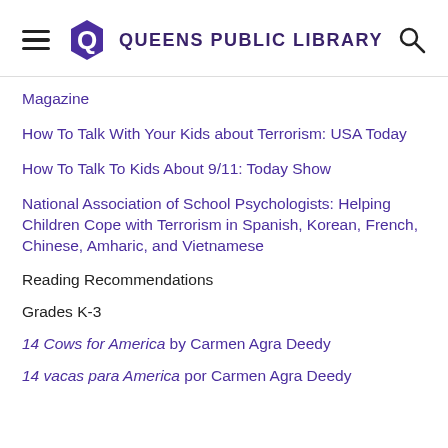Queens Public Library
Magazine
How To Talk With Your Kids about Terrorism: USA Today
How To Talk To Kids About 9/11: Today Show
National Association of School Psychologists: Helping Children Cope with Terrorism in Spanish, Korean, French, Chinese, Amharic, and Vietnamese
Reading Recommendations
Grades K-3
14 Cows for America by Carmen Agra Deedy
14 vacas para America por Carmen Agra Deedy